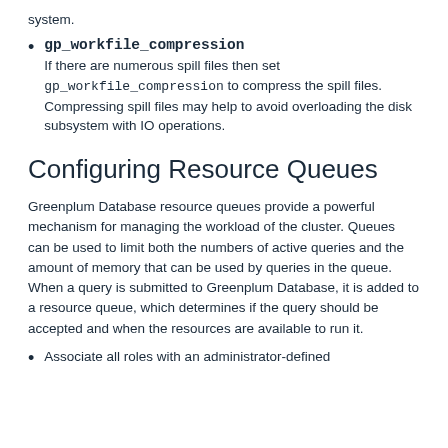system.
gp_workfile_compression
If there are numerous spill files then set gp_workfile_compression to compress the spill files. Compressing spill files may help to avoid overloading the disk subsystem with IO operations.
Configuring Resource Queues
Greenplum Database resource queues provide a powerful mechanism for managing the workload of the cluster. Queues can be used to limit both the numbers of active queries and the amount of memory that can be used by queries in the queue. When a query is submitted to Greenplum Database, it is added to a resource queue, which determines if the query should be accepted and when the resources are available to run it.
Associate all roles with an administrator-defined